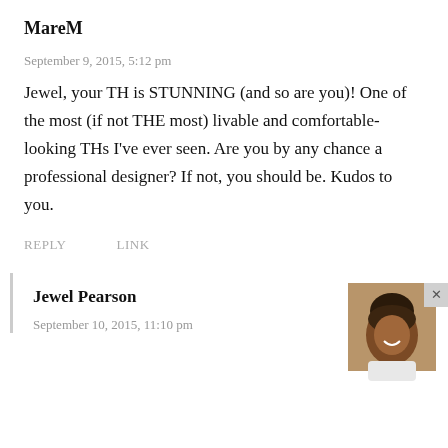MareM
September 9, 2015, 5:12 pm
Jewel, your TH is STUNNING (and so are you)! One of the most (if not THE most) livable and comfortable-looking THs I've ever seen. Are you by any chance a professional designer? If not, you should be. Kudos to you.
REPLY   LINK
Jewel Pearson
September 10, 2015, 11:10 pm
[Figure (photo): Small avatar photo of Jewel Pearson, a woman smiling, with an X close button overlay]